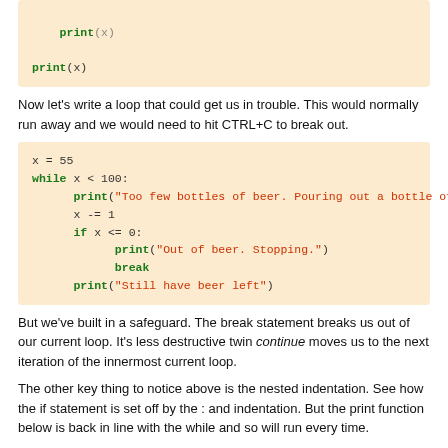[Figure (other): Code block showing print(x) in Python]
Now let's write a loop that could get us in trouble. This would normally run away and we would need to hit CTRL+C to break out.
[Figure (other): Python code block: x=55, while x < 100: print 'Too few bottles of beer...', x -= 1, if x <= 0: print 'Out of beer. Stopping.' break, print 'Still have beer left']
But we've built in a safeguard. The break statement breaks us out of our current loop. It's less destructive twin continue moves us to the next iteration of the innermost current loop.
The other key thing to notice above is the nested indentation. See how the if statement is set off by the : and indentation. But the print function below is back in line with the while and so will run every time.
For
For in python differs from its implementation in other languages in that its